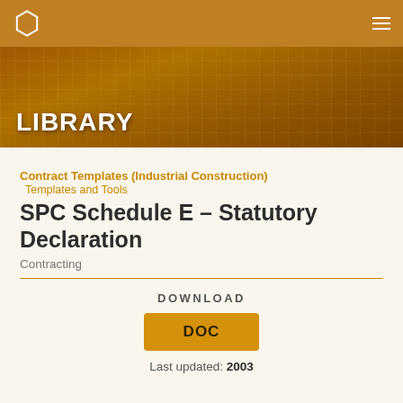LIBRARY
Contract Templates (Industrial Construction)
Templates and Tools
SPC Schedule E – Statutory Declaration
Contracting
DOWNLOAD
DOC
Last updated: 2003